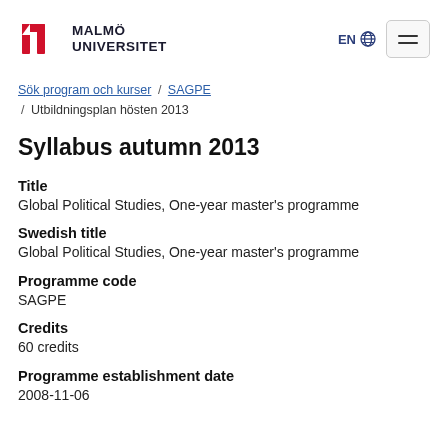Malmö Universitet — EN — menu
Sök program och kurser / SAGPE / Utbildningsplan hösten 2013
Syllabus autumn 2013
Title
Global Political Studies, One-year master's programme
Swedish title
Global Political Studies, One-year master's programme
Programme code
SAGPE
Credits
60 credits
Programme establishment date
2008-11-06